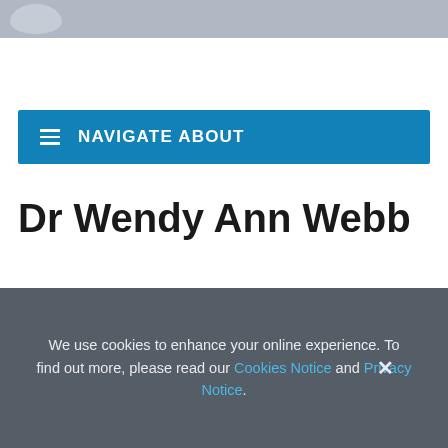≡ NAVIGATE ABOUT
Dr Wendy Ann Webb
Dr Wendy Webb will finally have the opportunity to swap her Nursing uniform for Graduation Gown,
We use cookies to enhance your online experience. To find out more, please read our Cookies Notice and Privacy Notice.